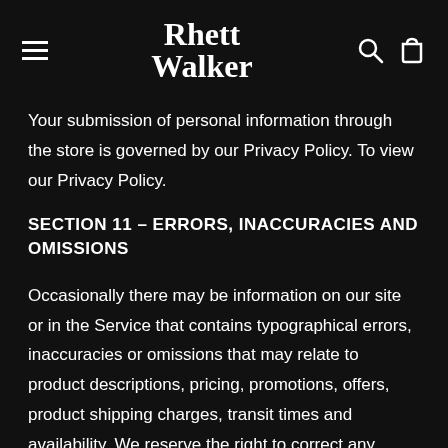Rhett Walker
Your submission of personal information through the store is governed by our Privacy Policy. To view our Privacy Policy.
SECTION 11 – ERRORS, INACCURACIES AND OMISSIONS
Occasionally there may be information on our site or in the Service that contains typographical errors, inaccuracies or omissions that may relate to product descriptions, pricing, promotions, offers, product shipping charges, transit times and availability. We reserve the right to correct any errors, inaccuracies or omissions, and to change or update